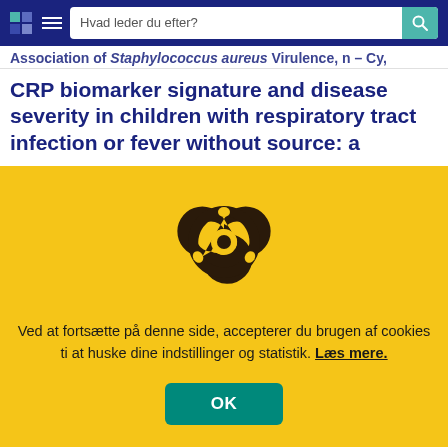Hvad leder du efter?
CRP biomarker signature and disease severity in children with respiratory tract infection or fever without source: a
[Figure (illustration): Biohazard symbol in dark brown/black on yellow background, used as cookie consent overlay icon]
Ved at fortsætte på denne side, accepterer du brugen af cookies ti at huske dine indstillinger og statistik. Læs mere.
OK